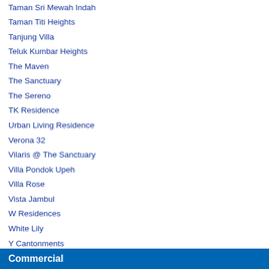Taman Sri Mewah Indah
Taman Titi Heights
Tanjung Villa
Teluk Kumbar Heights
The Maven
The Sanctuary
The Sereno
TK Residence
Urban Living Residence
Verona 32
Vilaris @ The Sanctuary
Villa Pondok Upeh
Villa Rose
Vista Jambul
W Residences
White Lily
Y Cantonments
Commercial